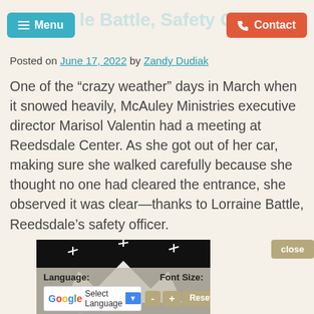Menu | Contact
Posted on June 17, 2022 by Zandy Dudiak
One of the “crazy weather” days in March when it snowed heavily, McAuley Ministries executive director Marisol Valentin had a meeting at Reedsdale Center. As she got out of her car, making sure she walked carefully because she thought no one had cleared the entrance, she observed it was clear—thanks to Lorraine Battle, Reedsdale’s safety officer.
[Figure (photo): Black background image with a white crown graphic with sparkles. Below the image is an accessibility toolbar overlay with Google Translate language selector and font size controls (-, +, Reset buttons).]